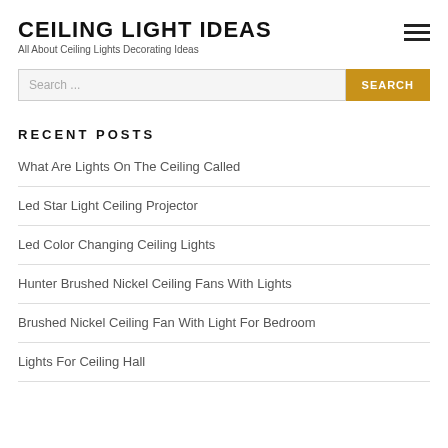CEILING LIGHT IDEAS
All About Ceiling Lights Decorating Ideas
RECENT POSTS
What Are Lights On The Ceiling Called
Led Star Light Ceiling Projector
Led Color Changing Ceiling Lights
Hunter Brushed Nickel Ceiling Fans With Lights
Brushed Nickel Ceiling Fan With Light For Bedroom
Lights For Ceiling Hall